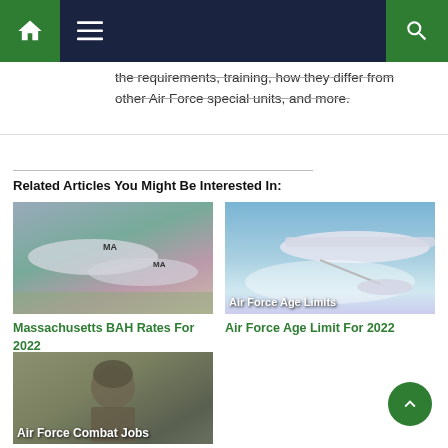Navigation bar with home, menu, and search icons
the requirements, training, how they differ from other Air Force special units, and more.
Related Articles You Might Be Interested In:
[Figure (photo): Two military fighter jets with MA markings flying in formation over landscape]
Massachusetts BAH Rates For 2022
[Figure (photo): Large military aircraft refueling a smaller jet in flight over clouds, with text overlay 'Air Force Age Limits']
Air Force Age Limit For 2022
[Figure (photo): Soldier in combat gear with text overlay 'Air Force Combat Jobs']